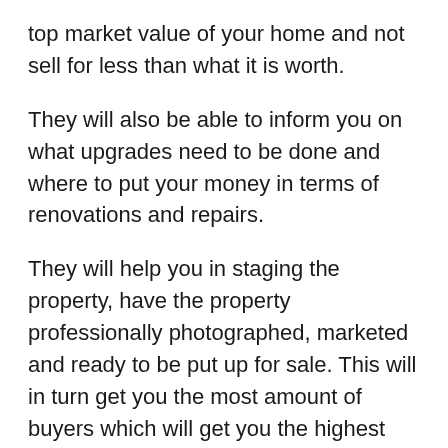top market value of your home and not sell for less than what it is worth.
They will also be able to inform you on what upgrades need to be done and where to put your money in terms of renovations and repairs.
They will help you in staging the property, have the property professionally photographed, marketed and ready to be put up for sale. This will in turn get you the most amount of buyers which will get you the highest offer.
If you are purchasing a property, a realtor will be able to look at what has sold in the area, factor in any differences and come to the market value of